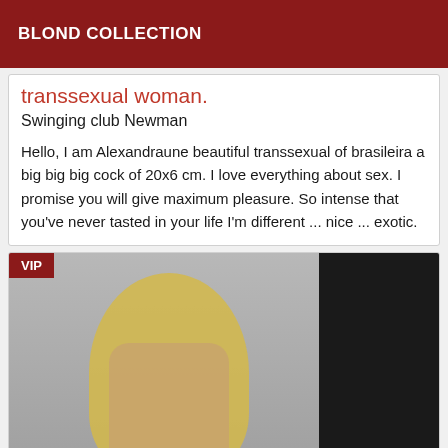BLOND COLLECTION
transsexual woman.
Swinging club Newman
Hello, I am Alexandraune beautiful transsexual of brasileira a big big big cock of 20x6 cm. I love everything about sex. I promise you will give maximum pleasure. So intense that you've never tasted in your life I'm different ... nice ... exotic.
[Figure (photo): Photo of a blonde woman with VIP badge in upper left corner, partially cropped, standing in front of a dark panel background.]